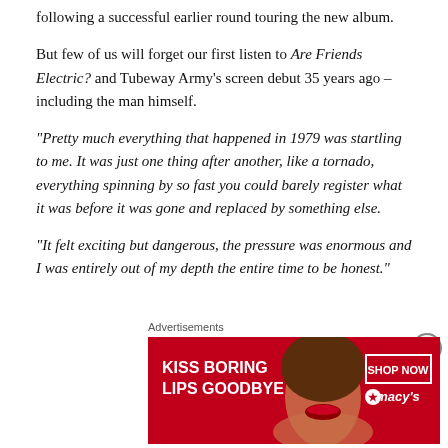following a successful earlier round touring the new album.
But few of us will forget our first listen to Are Friends Electric? and Tubeway Army's screen debut 35 years ago – including the man himself.
“Pretty much everything that happened in 1979 was startling to me. It was just one thing after another, like a tornado, everything spinning by so fast you could barely register what it was before it was gone and replaced by something else.
“It felt exciting but dangerous, the pressure was enormous and I was entirely out of my depth the entire time to be honest.”
Advertisements
[Figure (other): Advertisement banner: red background with woman's face, text 'KISS BORING LIPS GOODBYE', 'SHOP NOW' button, and Macy's star logo]